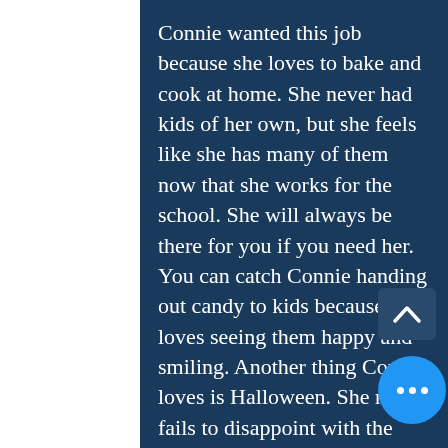Connie wanted this job because she loves to bake and cook at home. She never had kids of her own, but she feels like she has many of them now that she works for the school. She will always be there for you if you need her. You can catch Connie handing out candy to kids because she loves seeing them happy and smiling. Another thing Connie loves is Halloween. She never fails to disappoint with the amazingly creepy Halloween decorations surrounding the cafeteria. Although she loves seeing the happy, she also loves seeing a good scare and a laugh